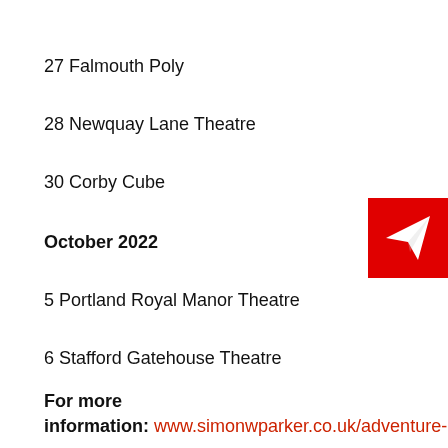27 Falmouth Poly
28 Newquay Lane Theatre
30 Corby Cube
[Figure (logo): Red square with white paper airplane icon]
October 2022
5 Portland Royal Manor Theatre
6 Stafford Gatehouse Theatre
For more information: www.simonwparker.co.uk/adventure-